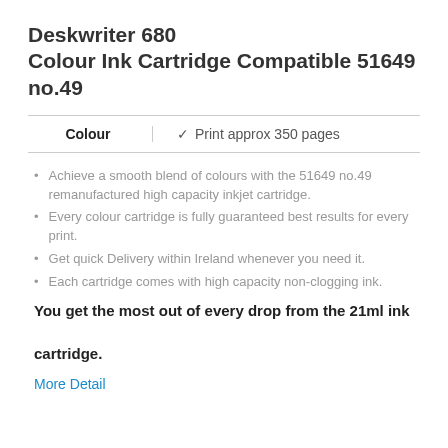Deskwriter 680 Colour Ink Cartridge Compatible 51649 no.49
Colour  ✓  Print approx 350 pages
Achieve a smooth blend of colours with the 51649 no.49 remanufactured high capacity inkjet cartridge.
Every colour cartridge is fully guaranteed best results for every print.
Get quick Delivery within Ireland whenever you need it.
Each cartridge comes with high capacity non-clogging ink.
You get the most out of every drop from the 21ml ink cartridge.
More Detail